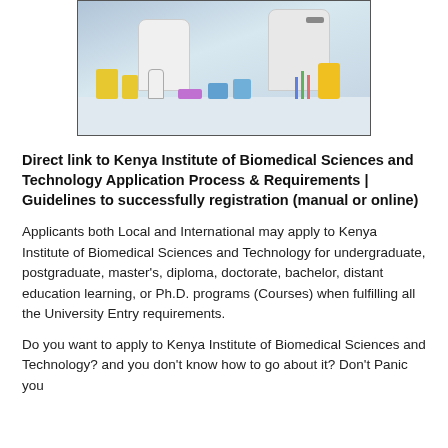[Figure (photo): Laboratory scene showing scientists in white coats working at a bench with equipment including yellow biohazard containers, colorful tubes, bottles, and lab instruments.]
Direct link to Kenya Institute of Biomedical Sciences and Technology Application Process & Requirements | Guidelines to successfully registration (manual or online)
Applicants both Local and International may apply to Kenya Institute of Biomedical Sciences and Technology for undergraduate, postgraduate, master's, diploma, doctorate, bachelor, distant education learning, or Ph.D. programs (Courses) when fulfilling all the University Entry requirements.
Do you want to apply to Kenya Institute of Biomedical Sciences and Technology? and you don't know how to go about it? Don't Panic you